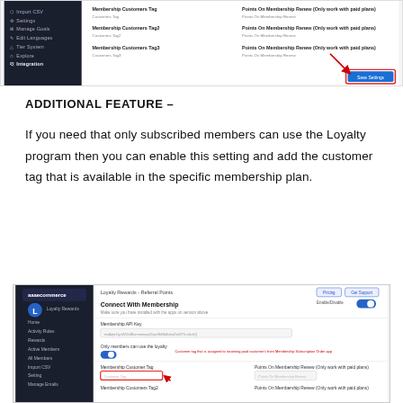[Figure (screenshot): Screenshot of a Shopify app settings page showing membership customer tag fields and a 'Save Settings' button highlighted with a red arrow.]
ADDITIONAL FEATURE –
If you need that only subscribed members can use the Loyalty program then you can enable this setting and add the customer tag that is available in the specific membership plan.
[Figure (screenshot): Screenshot of Loyalty Rewards - Referral Points app showing 'Connect With Membership' section with Enable/Disable toggle, Membership API Key field, 'Only members can use the loyalty' toggle, Membership Customer Tag field highlighted with red arrow, and annotation 'Customer tag that is assigned to incoming paid customer's from Membership Subscription Order app'.]